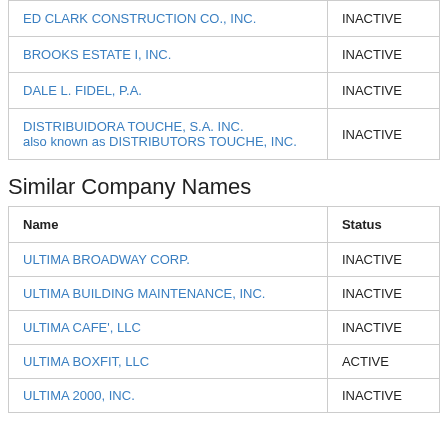| Name | Status |
| --- | --- |
| ED CLARK CONSTRUCTION CO., INC. | INACTIVE |
| BROOKS ESTATE I, INC. | INACTIVE |
| DALE L. FIDEL, P.A. | INACTIVE |
| DISTRIBUIDORA TOUCHE, S.A. INC. also known as DISTRIBUTORS TOUCHE, INC. | INACTIVE |
Similar Company Names
| Name | Status |
| --- | --- |
| ULTIMA BROADWAY CORP. | INACTIVE |
| ULTIMA BUILDING MAINTENANCE, INC. | INACTIVE |
| ULTIMA CAFE', LLC | INACTIVE |
| ULTIMA BOXFIT, LLC | ACTIVE |
| ULTIMA 2000, INC. | INACTIVE |